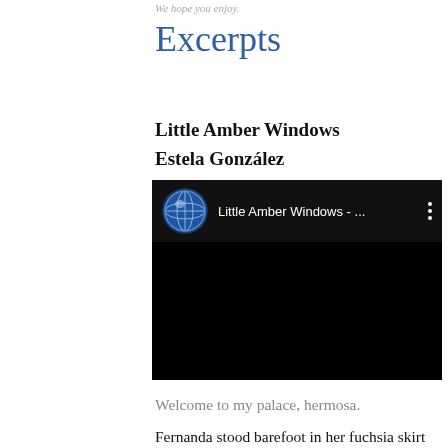We hope you enjoy.
Excerpts
Little Amber Windows
Estela González
[Figure (screenshot): Video embed thumbnail showing a globe/network icon, title 'Little Amber Windows - ...' on a black background with a vertical three-dot menu icon]
Welcome to my palace, hermosa.
Fernanda stood barefoot in her fuchsia skirt and embroidered huipil.